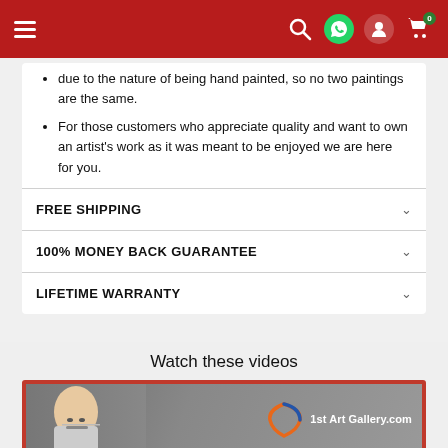Navigation bar with hamburger menu, search, WhatsApp, account, and cart (0) icons
due to the nature of being hand painted, so no two paintings are the same.
For those customers who appreciate quality and want to own an artist's work as it was meant to be enjoyed we are here for you.
FREE SHIPPING
100% MONEY BACK GUARANTEE
LIFETIME WARRANTY
Watch these videos
[Figure (screenshot): Video thumbnail showing a bald man with glasses and a beard, next to the 1st Art Gallery.com logo with a circular swoosh design, framed by a red border.]